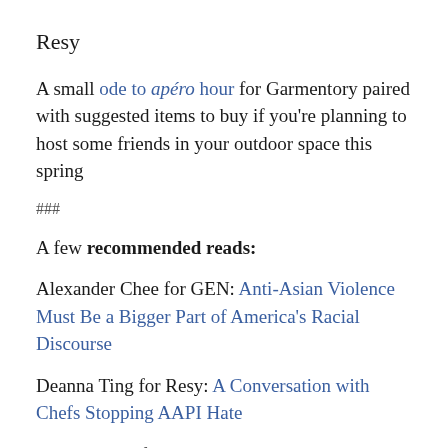Resy
A small ode to apéro hour for Garmentory paired with suggested items to buy if you're planning to host some friends in your outdoor space this spring
###
A few recommended reads:
Alexander Chee for GEN: Anti-Asian Violence Must Be a Bigger Part of America's Racial Discourse
Deanna Ting for Resy: A Conversation with Chefs Stopping AAPI Hate
Alex Wagner for The Atlantic: Our Asian Spring
Ashley B. Wells for Grub Street: Reopening My